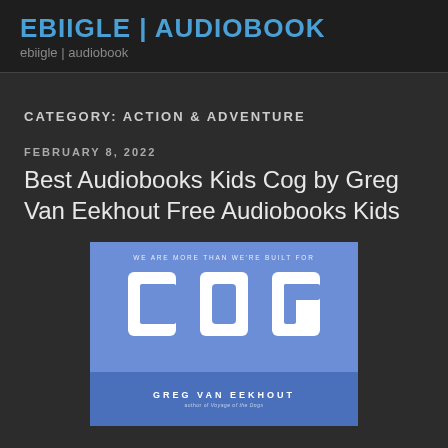EBIIGLE | AUDIOBOOK
ebiigle | audiobook
CATEGORY: ACTION & ADVENTURE
FEBRUARY 8, 2022
Best Audiobooks Kids Cog by Greg Van Eekhout Free Audiobooks Kids
[Figure (photo): Book cover of COG by Greg Van Eekhout. Blue background with large stylized white lettering spelling COG and tagline WE ARE MORE THAN WE'RE BUILT FOR. Author name Greg Van Eekhout shown below.]